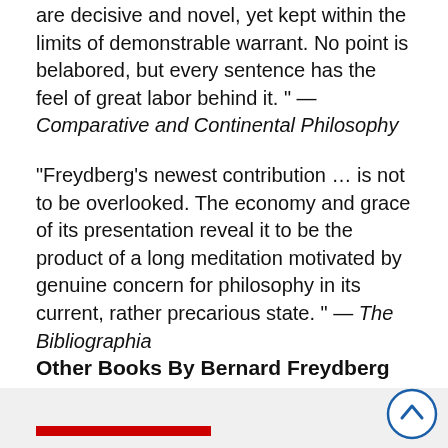are decisive and novel, yet kept within the limits of demonstrable warrant. No point is belabored, but every sentence has the feel of great labor behind it. " — Comparative and Continental Philosophy
"Freydberg's newest contribution … is not to be overlooked. The economy and grace of its presentation reveal it to be the product of a long meditation motivated by genuine concern for philosophy in its current, rather precarious state. " — The Bibliographia
Other Books By Bernard Freydberg